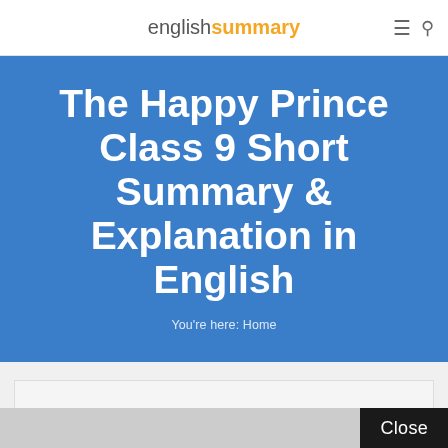englishsummary
The Happy Prince Class 9 Short Summary & Explanation in English
You're here: Home
[Figure (other): Advertisement or content placeholder box with light grey background]
Close